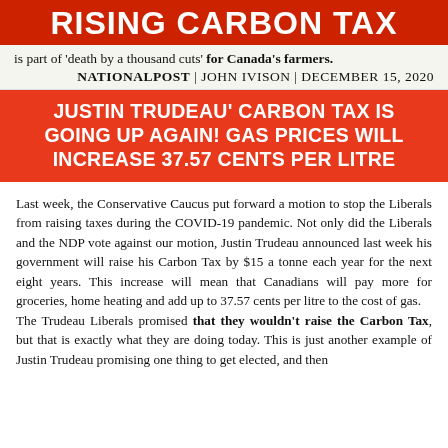RISING CARBON TAX
is part of 'death by a thousand cuts' for Canada's farmers.
NATIONALPOST | JOHN IVISON | DECEMBER 15, 2020
JUSTIN TRUDEAU' CARBON TAX IS GOING UP AGAIN! GAS PRICES WILL INCREASE 37.57 CENTS PER LITRE
Last week, the Conservative Caucus put forward a motion to stop the Liberals from raising taxes during the COVID-19 pandemic. Not only did the Liberals and the NDP vote against our motion, Justin Trudeau announced last week his government will raise his Carbon Tax by $15 a tonne each year for the next eight years. This increase will mean that Canadians will pay more for groceries, home heating and add up to 37.57 cents per litre to the cost of gas.
The Trudeau Liberals promised that they wouldn't raise the Carbon Tax, but that is exactly what they are doing today. This is just another example of Justin Trudeau promising one thing to get elected, and then